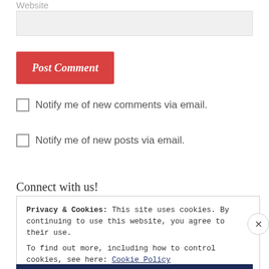Website
Post Comment
Notify me of new comments via email.
Notify me of new posts via email.
Connect with us!
Privacy & Cookies: This site uses cookies. By continuing to use this website, you agree to their use.
To find out more, including how to control cookies, see here: Cookie Policy
Close and accept